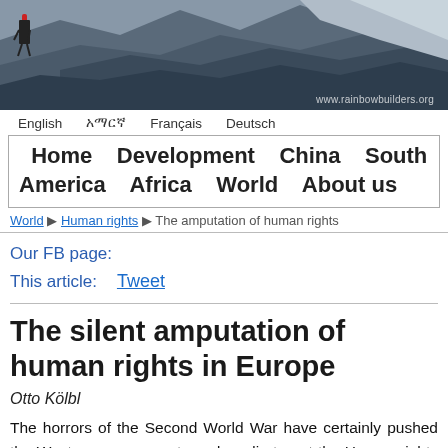[Figure (photo): Mountain/rocky landscape photo with a person (hiker) visible on the left side, rocks and cliffs in the background. Watermark: www.rainbowbuilders.org]
English  |  አማርኛ  |  Français  |  Deutsch
Home   Development   China   South America   Africa   World   About us
World ▶ Human rights ▶ The amputation of human rights
Our FB page:
This article:   Tweet
The silent amputation of human rights in Europe
Otto Kölbl
The horrors of the Second World War have certainly pushed the Western governments and media to put the Human rights very high on their agenda. However, in this undertaking, they have always oscillated between a global approach within the framework of the UN and an approach